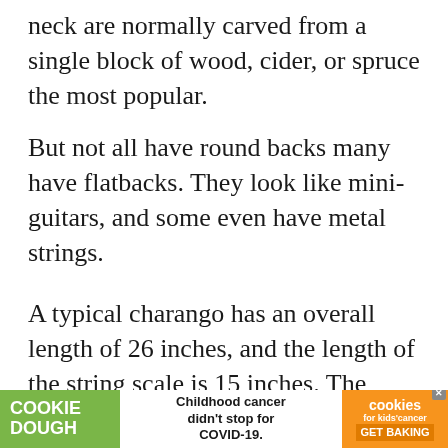neck are normally carved from a single block of wood, cider, or spruce the most popular.
But not all have round backs many have flatbacks. They look like mini-guitars, and some even have metal strings.
A typical charango has an overall length of 26 inches, and the length of the string scale is 15 inches. The number of frets is between five and eighteen.
The body generally features a narrow waist
[Figure (other): Advertisement banner at bottom of page: Cookie Dough ad with Childhood cancer didn't stop for COVID-19. Cookies for kids cancer GET BAKING.]